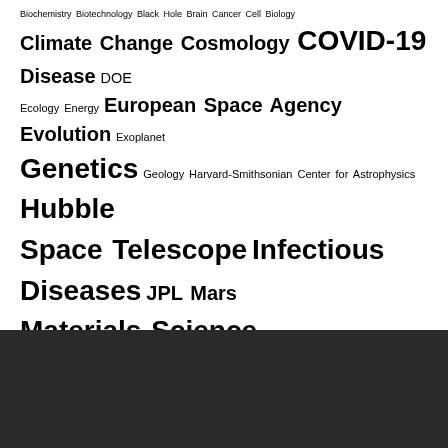Biochemistry Biotechnology Black Hole Brain Cancer Cell Biology Climate Change Cosmology COVID-19 Disease DOE Ecology Energy European Space Agency Evolution Exoplanet Genetics Geology Harvard-Smithsonian Center for Astrophysics Hubble Space Telescope Infectious Diseases JPL Mars Materials Science Max Planck Institute Medicine MIT Nanotechnology NASA NASA Goddard Space Flight Center Neuroscience Nutrition Paleontology Particle Physics Planetary Science Planets Popular Public Health Quantum Physics Vaccine Virology Yale University
Search for | Cellphone Guru
1. FOODS TO AVOID DEMENTIA